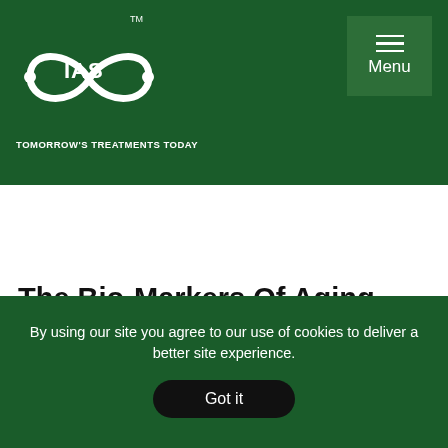[Figure (logo): IAS infinity loop logo with TM mark and text TOMORROW'S TREATMENTS TODAY]
The Bio-Markers Of Aging
Written by MICANS, MS, PharmB, Philip A
By using our site you agree to our use of cookies to deliver a better site experience.
Got it